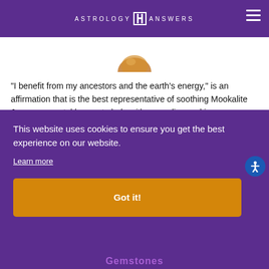ASTROLOGY ANSWERS
[Figure (photo): Partial crystal/gemstone image at top center]
"I benefit from my ancestors and the earth's energy," is an affirmation that is the best representative of soothing Mookalite Jasper, a crystal known to help with grounding and inner connection to nature. Particularly helpful for those under the Earth signs, especially Scorpio and Virgo ...
This website uses cookies to ensure you get the best experience on our website.
Learn more
Got it!
Gemstones